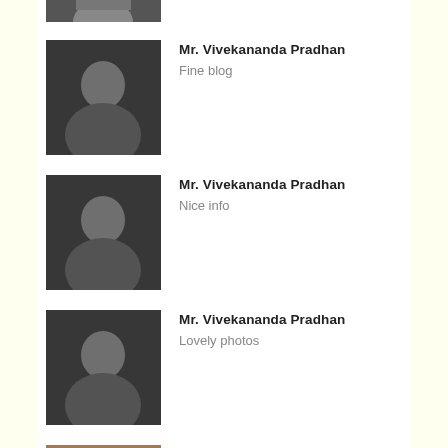[Figure (photo): Partial black and white portrait photo at top of page (cropped)]
Mr. Vivekananda Pradhan
Fine blog
Mr. Vivekananda Pradhan
Nice info
Mr. Vivekananda Pradhan
Lovely photos
Mr. Abhinava Pandey
helpful to everyone
Mr. Abhinava Pandey
awesome clicks